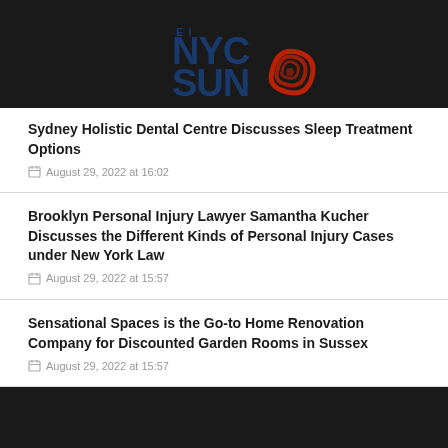[Figure (logo): NYC Sun logo with blue text and red swirl graphic]
Sydney Holistic Dental Centre Discusses Sleep Treatment Options
August 29, 2022 at 16:02
Brooklyn Personal Injury Lawyer Samantha Kucher Discusses the Different Kinds of Personal Injury Cases under New York Law
August 29, 2022 at 15:57
Sensational Spaces is the Go-to Home Renovation Company for Discounted Garden Rooms in Sussex
August 29, 2022 at 15:57